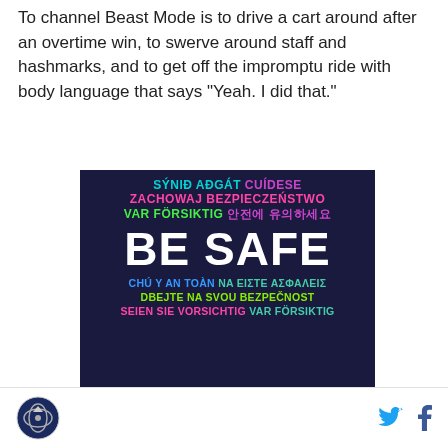To channel Beast Mode is to drive a cart around after an overtime win, to swerve around staff and hashmarks, and to get off the impromptu ride with body language that says "Yeah. I did that."
[Figure (infographic): Dark navy background safety poster with multilingual 'BE SAFE' text. Lines include: SÝNIÐ AÐGÁT (cyan) CUÍDESE (purple); ZACHOWAJ BEZPIECZEŃSTWO (pink); VAR FÖRSIKTIG (green) 안전에 유의하세요 (purple); BE SAFE (large white bold); CHÚ Ý AN TOÀN (blue) NA EIΣTE AΣΦAΛEIΣ (teal); DBEJTE NA SVOU BEZPEČNOST (lime green); SEIEN SIE VORSICHTIG (pink) VAR FÖRSIKTIG (teal)]
[Logo] [Twitter icon] [Facebook icon]